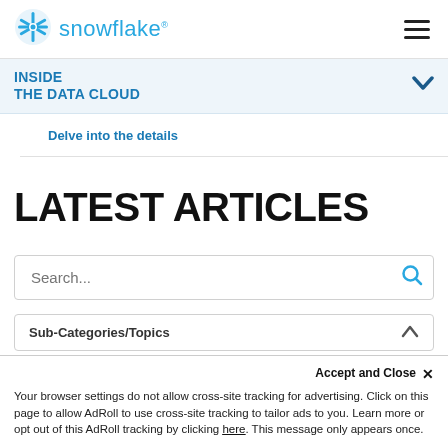[Figure (logo): Snowflake logo with snowflake icon and text 'snowflake' in blue]
INSIDE THE DATA CLOUD
Delve into the details
LATEST ARTICLES
Search...
Sub-Categories/Topics
Accept and Close ✕
Your browser settings do not allow cross-site tracking for advertising. Click on this page to allow AdRoll to use cross-site tracking to tailor ads to you. Learn more or opt out of this AdRoll tracking by clicking here. This message only appears once.